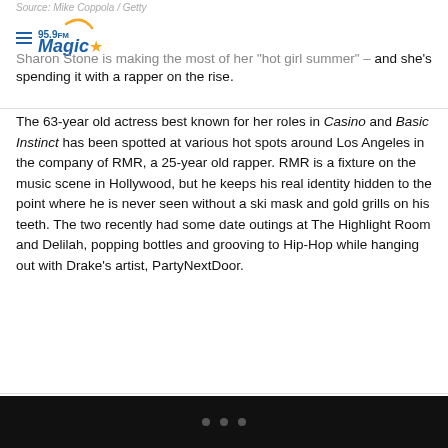Source: Mike Coppola / Getty
[Figure (logo): 95.9FM Magic radio station logo with hamburger menu icon]
Sharon Stone is making the most of her "hot girl summer" – and she's spending it with a rapper on the rise.
The 63-year old actress best known for her roles in Casino and Basic Instinct has been spotted at various hot spots around Los Angeles in the company of RMR, a 25-year old rapper. RMR is a fixture on the music scene in Hollywood, but he keeps his real identity hidden to the point where he is never seen without a ski mask and gold grills on his teeth. The two recently had some date outings at The Highlight Room and Delilah, popping bottles and grooving to Hip-Hop while hanging out with Drake's artist, PartyNextDoor.
• • •